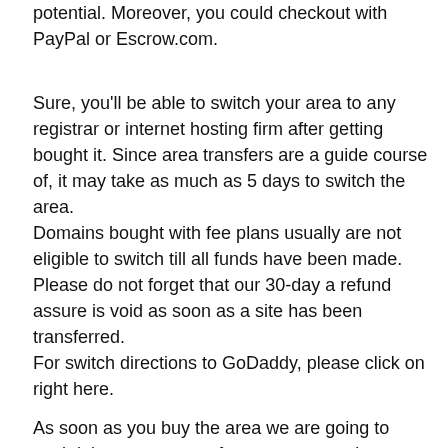potential. Moreover, you could checkout with PayPal or Escrow.com.
Sure, you'll be able to switch your area to any registrar or internet hosting firm after getting bought it. Since area transfers are a guide course of, it may take as much as 5 days to switch the area.
Domains bought with fee plans usually are not eligible to switch till all funds have been made. Please do not forget that our 30-day a refund assure is void as soon as a site has been transferred.
For switch directions to GoDaddy, please click on right here.
As soon as you buy the area we are going to push it into an account for you at our registrar,